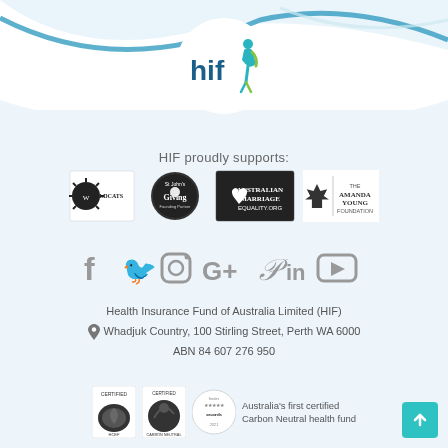[Figure (logo): HIF (Health Insurance Fund) logo with teal and green figure on white circle background]
HIF proudly supports:
[Figure (logo): Four partner organisation logos: Perth Wildcats, St John's Giving (Founding Partner), Australian Marriage Equality.org, The Amanda Young Foundation]
[Figure (infographic): Social media icons row: Facebook, Twitter, Instagram, Google+, Pinterest, LinkedIn, YouTube]
Health Insurance Fund of Australia Limited (HIF)
Whadjuk Country, 100 Stirling Street, Perth WA 6000
ABN 84 607 276 950
[Figure (logo): Three certification logos: Certified (HCEF), Certified Carbon Neutral product, Finder Awards 5 star. Text: Australia's first certified Carbon Neutral health fund]